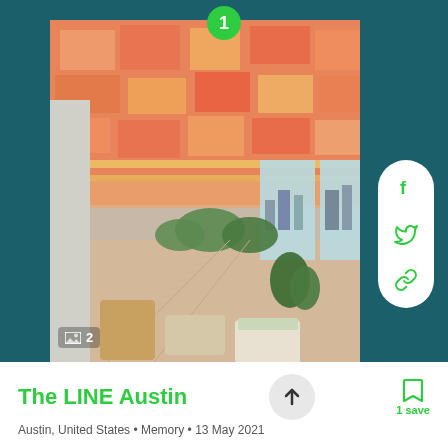[Figure (photo): Rooftop terrace or patio of The LINE Austin hotel with colorful orange/salmon fabric canopy overhead, wicker furniture, and city skyline view through large windows. Number 1 badge in green circle at top.]
The LINE Austin
Austin, United States • Memory • 13 May 2021
1 save